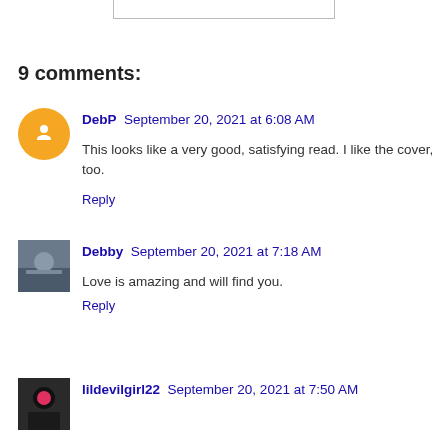9 comments:
DebP September 20, 2021 at 6:08 AM
This looks like a very good, satisfying read. I like the cover, too.
Reply
Debby September 20, 2021 at 7:18 AM
Love is amazing and will find you.
Reply
lildevilgirl22 September 20, 2021 at 7:50 AM